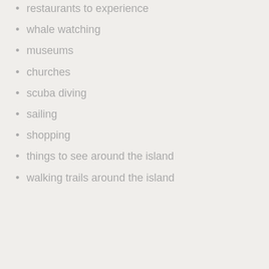restaurants to experience
whale watching
museums
churches
scuba diving
sailing
shopping
things to see around the island
walking trails around the island